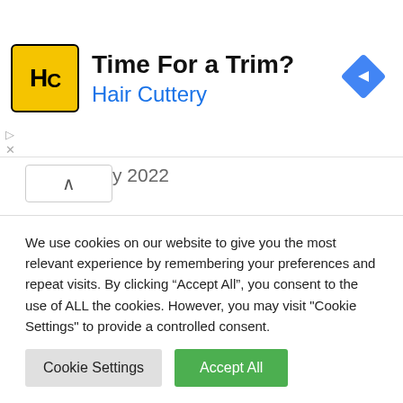[Figure (other): Hair Cuttery advertisement banner with yellow logo showing 'HC', headline 'Time For a Trim?', subtext 'Hair Cuttery' in blue, and a blue navigation diamond icon on the right.]
December 2021
November 2021
October 2021
We use cookies on our website to give you the most relevant experience by remembering your preferences and repeat visits. By clicking “Accept All”, you consent to the use of ALL the cookies. However, you may visit "Cookie Settings" to provide a controlled consent.